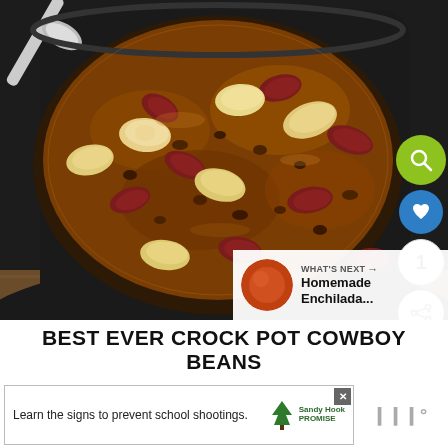[Figure (photo): Close-up photo of a slow cooker/crock pot filled with cowboy beans - a mixture of kidney beans, butter beans, and other beans in a dark brown sauce with ground meat, viewed from above at an angle. A metal spoon/ladle is visible at the top left. The slow cooker has a dark exterior.]
[Figure (infographic): What's Next panel showing a circular thumbnail of enchilada sauce with text 'WHAT'S NEXT → Homemade Enchilada...']
BEST EVER CROCK POT COWBOY BEANS
[Figure (screenshot): Advertisement banner: 'Learn the signs to prevent school shootings.' with Sandy Hook Promise logo (green tree icon). Close button at top right.]